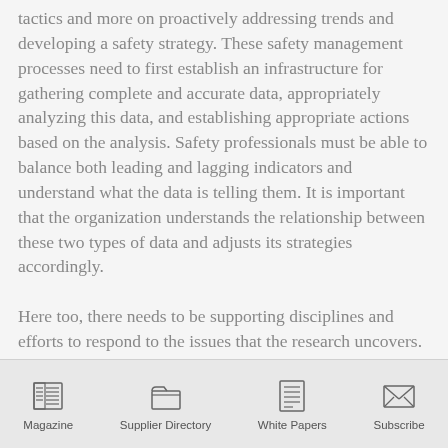tactics and more on proactively addressing trends and developing a safety strategy. These safety management processes need to first establish an infrastructure for gathering complete and accurate data, appropriately analyzing this data, and establishing appropriate actions based on the analysis. Safety professionals must be able to balance both leading and lagging indicators and understand what the data is telling them. It is important that the organization understands the relationship between these two types of data and adjusts its strategies accordingly.

Here too, there needs to be supporting disciplines and efforts to respond to the issues that the research uncovers.  It is at this point that the organization may
Magazine | Supplier Directory | White Papers | Subscribe